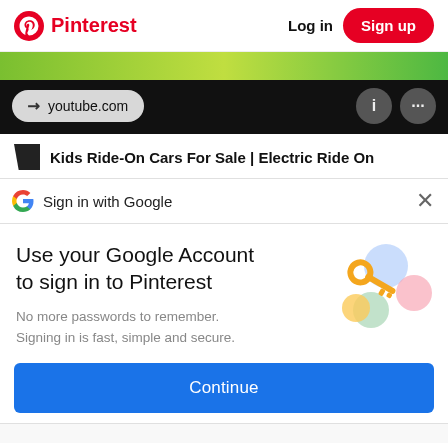Pinterest  Log in  Sign up
[Figure (screenshot): YouTube card bar with url pill showing youtube.com and info/more buttons on black background with green image strip above]
Kids Ride-On Cars For Sale | Electric Ride On
Sign in with Google
Use your Google Account to sign in to Pinterest
No more passwords to remember.
Signing in is fast, simple and secure.
[Figure (illustration): Google key illustration with colorful circles and a golden key]
Continue